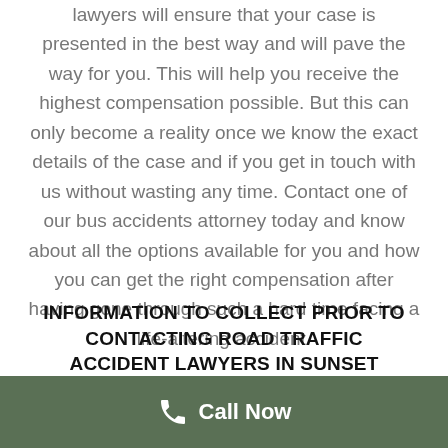lawyers will ensure that your case is presented in the best way and will pave the way for you. This will help you receive the highest compensation possible. But this can only become a reality once we know the exact details of the case and if you get in touch with us without wasting any time. Contact one of our bus accidents attorney today and know about all the options available for you and how you can get the right compensation after having gone through such a hard time facing a life-altering accident.
INFORMATION TO COLLECT PRIOR TO CONTACTING ROAD TRAFFIC ACCIDENT LAWYERS IN SUNSET POINT, AB
Several measures can help you determine which road traffic accident lawyer in Sunset Point, Alberta...
Call Now